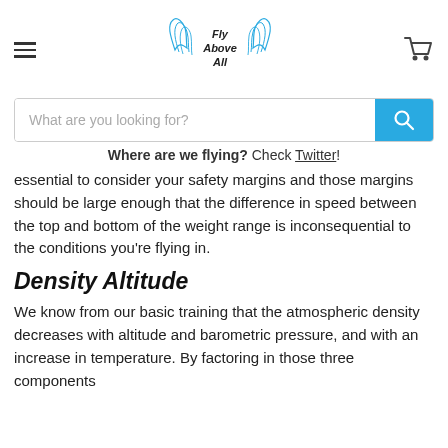Fly Above All (logo with hamburger menu and cart)
What are you looking for? (search bar)
Where are we flying? Check Twitter!
essential to consider your safety margins and those margins should be large enough that the difference in speed between the top and bottom of the weight range is inconsequential to the conditions you're flying in.
Density Altitude
We know from our basic training that the atmospheric density decreases with altitude and barometric pressure, and with an increase in temperature. By factoring in those three components